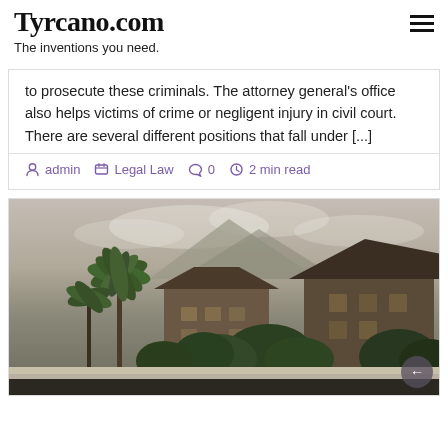Tyrcano.com
The inventions you need.
to prosecute these criminals. The attorney general's office also helps victims of crime or negligent injury in civil court. There are several different positions that fall under [...]
admin   Legal Law   0   2 min read
[Figure (photo): Photograph of tropical buildings with palm trees and a misty mountain in the background, taken at dusk or dawn with overcast sky.]